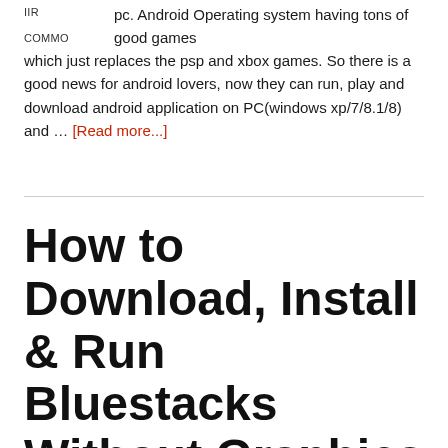pc. Android Operating system having tons of good games which just replaces the psp and xbox games. So there is a good news for android lovers, now they can run, play and download android application on PC(windows xp/7/8.1/8) and … [Read more...]
How to Download, Install & Run Bluestacks Without Graphics Card : Fixed
By Web